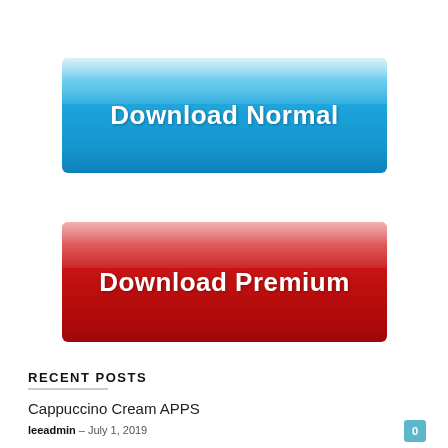[Figure (other): Blue glossy download button with text 'Download Normal' in white bold font on a gradient blue background]
[Figure (other): Red glossy download button with text 'Download Premium' in white bold font on a gradient red background]
RECENT POSTS
Cappuccino Cream APPS
leeadmin – July 1, 2019